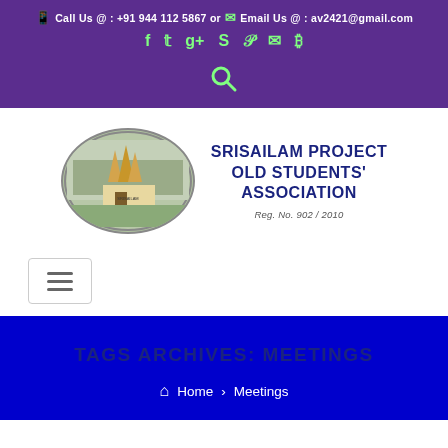Call Us @ : +91 944 112 5867 or Email Us @ : av2421@gmail.com
[Figure (other): Social media icons: Facebook, Twitter, Google+, Skype, Pinterest, Email, Bitcoin in green on purple background]
[Figure (other): Search icon (magnifying glass) in green on purple background]
[Figure (photo): Oval-shaped logo with photo of Srisailam project temple/building]
SRISAILAM PROJECT OLD STUDENTS' ASSOCIATION
Reg. No. 902 / 2010
[Figure (other): Hamburger menu button with three horizontal lines]
TAGS ARCHIVES: MEETINGS
Home > Meetings